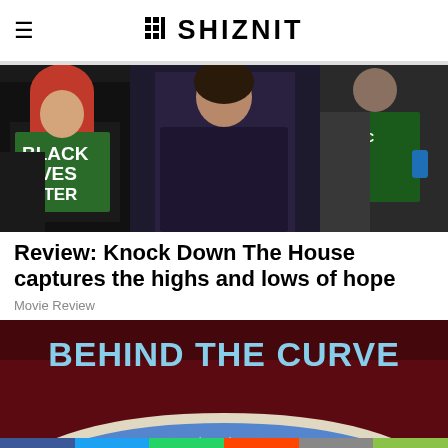THE SHIZNIT
[Figure (photo): People wearing Black Lives Matter t-shirts at a protest or event]
Review: Knock Down The House captures the highs and lows of hope
Movie Review
[Figure (photo): Behind The Curve movie poster showing a flat earth globe with text 'BEHIND THE CURVE']
[Figure (infographic): Social media share bar with Facebook, Twitter, WhatsApp, Reddit, Email, and Share buttons]